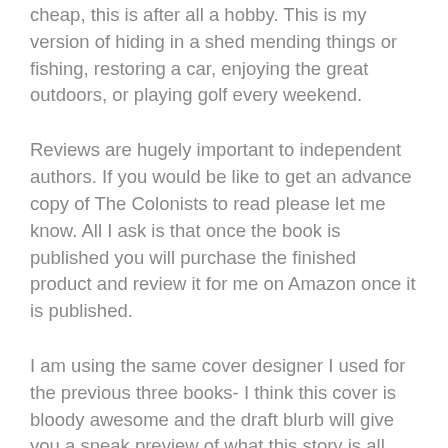cheap, this is after all a hobby. This is my version of hiding in a shed mending things or fishing, restoring a car, enjoying the great outdoors, or playing golf every weekend.
Reviews are hugely important to independent authors. If you would be like to get an advance copy of The Colonists to read please let me know. All I ask is that once the book is published you will purchase the finished product and review it for me on Amazon once it is published.
I am using the same cover designer I used for the previous three books- I think this cover is bloody awesome and the draft blurb will give you a sneak preview of what this story is all about.